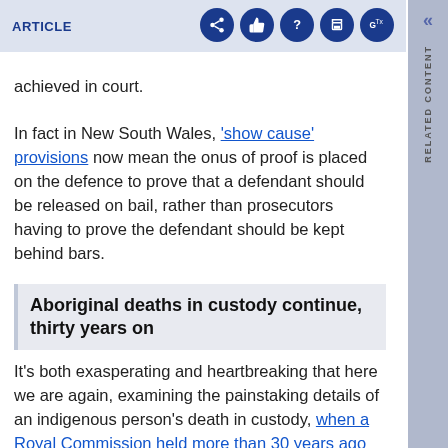ARTICLE
achieved in court.
In fact in New South Wales, 'show cause' provisions now mean the onus of proof is placed on the defence to prove that a defendant should be released on bail, rather than prosecutors having to prove the defendant should be kept behind bars.
Aboriginal deaths in custody continue, thirty years on
It's both exasperating and heartbreaking that here we are again, examining the painstaking details of an indigenous person's death in custody, when a Royal Commission held more than 30 years ago outlined more than 300 recommendations – most of which have never been implemented, and which could have raised the standards of care for indigenous people in custody who face particular health and other risks, as well as improved mechanisms for accountability.